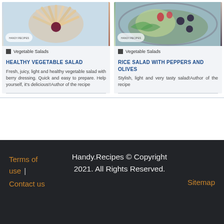[Figure (photo): Artistic shrimp/seafood dish with fan arrangement and berry sauce on plate, with Handy.Recipes logo watermark]
Vegetable Salads
HEALTHY VEGETABLE SALAD
Fresh, juicy, light and healthy vegetable salad with berry dressing. Quick and easy to prepare. Help yourself, it's delicious!!Author of the recipe
[Figure (photo): Green salad with black olives, vegetables and berries on dark plate, with Handy.Recipes logo watermark]
Vegetable Salads
RICE SALAD WITH PEPPERS AND OLIVES
Stylish, light and very tasty salad!Author of the recipe
Terms of use | Contact us   Handy.Recipes © Copyright 2021. All Rights Reserved.   Sitemap